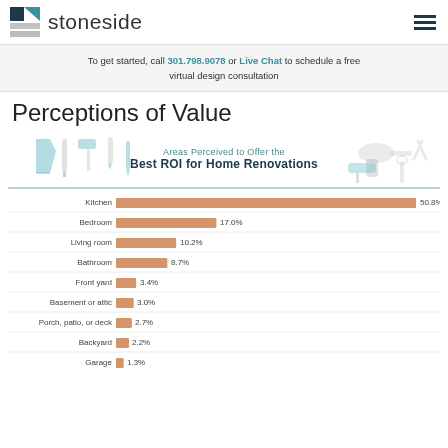stoneside
To get started, call 301.798.9078 or Live Chat to schedule a free virtual design consultation
Perceptions of Value
[Figure (infographic): Areas Perceived to Offer the Best ROI for Home Renovations — infographic header with tool illustrations]
[Figure (bar-chart): Areas Perceived to Offer the Best ROI for Home Renovations]